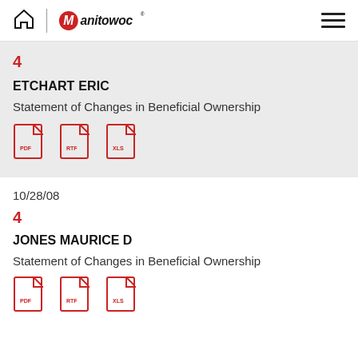Manitowoc
4
ETCHART ERIC
Statement of Changes in Beneficial Ownership
[Figure (other): PDF, RTF, XLS file download icons]
10/28/08
4
JONES MAURICE D
Statement of Changes in Beneficial Ownership
[Figure (other): PDF, RTF, XLS file download icons]